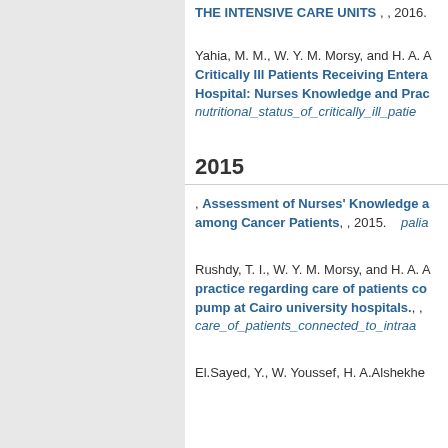THE INTENSIVE CARE UNITS , , 2016.
Yahia, M. M., W. Y. M. Morsy, and H. A. A... Critically Ill Patients Receiving Entera... Hospital: Nurses Knowledge and Prac... nutritional_status_of_critically_ill_patie...
2015
, Assessment of Nurses' Knowledge a... among Cancer Patients, , 2015. palia...
Rushdy, T. I., W. Y. M. Morsy, and H. A. A... practice regarding care of patients co... pump at Cairo university hospitals., , ... care_of_patients_connected_to_intraa...
El.Sayed, Y., W. Youssef, H. A.Alshekher...